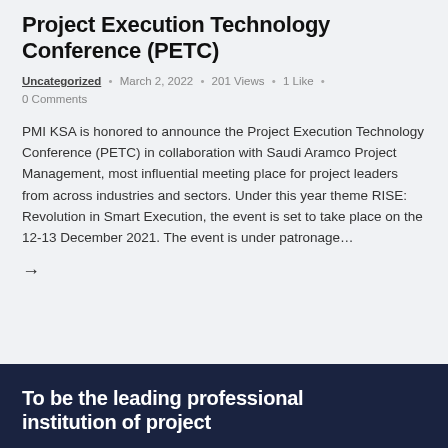Project Execution Technology Conference (PETC)
Uncategorized · March 2, 2022 · 201 Views · 1 Like · 0 Comments
PMI KSA is honored to announce the Project Execution Technology Conference (PETC) in collaboration with Saudi Aramco Project Management, most influential meeting place for project leaders from across industries and sectors. Under this year theme RISE: Revolution in Smart Execution, the event is set to take place on the 12-13 December 2021. The event is under patronage…
→
To be the leading professional institution of project